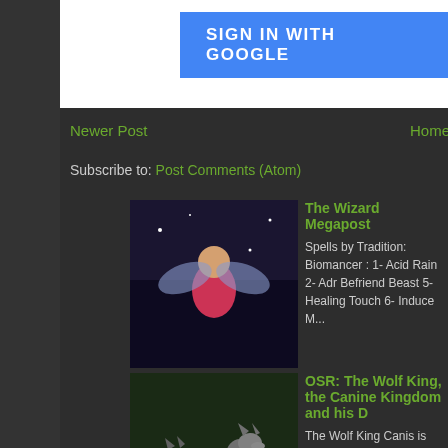SIGN IN WITH GOOGLE
Newer Post
Home
Subscribe to: Post Comments (Atom)
The Wizard Megapost
Spells by Tradition: Biomancer : 1- Acid Rain 2- Adr Befriend Beast 5- Healing Touch 6- Induce M...
OSR: The Wolf King, the Canine Kingdom and his D
The Wolf King Canis is one of the Animal Kings, a g his lofty status, he rules over a small and fracti...
If you needed another reason to stop watching porr
Hello everyone!  This is going to be a more serious you're not up for reading about sad things...